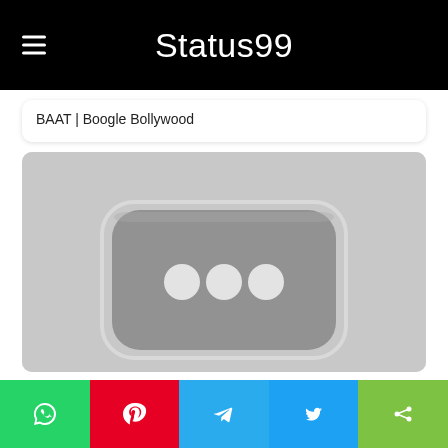Status99
BAAT | Boogle Bollywood
[Figure (screenshot): YouTube Silver Play Button award plaque image, blurred/gray toned, showing a rounded rectangle shield shape with three dots in the center, displayed as a thumbnail placeholder.]
WhatsApp | Pinterest | Telegram | Twitter | Share